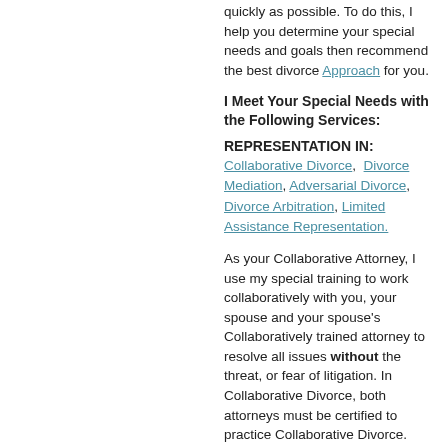quickly as possible. To do this, I help you determine your special needs and goals then recommend the best divorce Approach for you.
I Meet Your Special Needs with the Following Services:
REPRESENTATION IN:
Collaborative Divorce, Divorce Mediation, Adversarial Divorce, Divorce Arbitration, Limited Assistance Representation.
As your Collaborative Attorney, I use my special training to work collaboratively with you, your spouse and your spouse’s Collaboratively trained attorney to resolve all issues without the threat, or fear of litigation. In Collaborative Divorce, both attorneys must be certified to practice Collaborative Divorce.
As your Mediation Attorney, I will be on “the sidelines” available to you to answer questions and